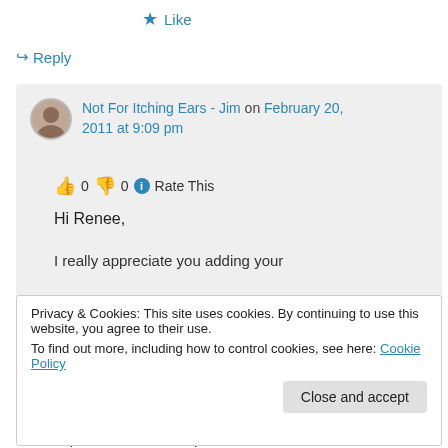★ Like
↪ Reply
Not For Itching Ears - Jim on February 20, 2011 at 9:09 pm
👍 0 👎 0 ℹ Rate This
Hi Renee,
I really appreciate you adding your
experience of the corporate church in
Privacy & Cookies: This site uses cookies. By continuing to use this website, you agree to their use. To find out more, including how to control cookies, see here: Cookie Policy
Close and accept